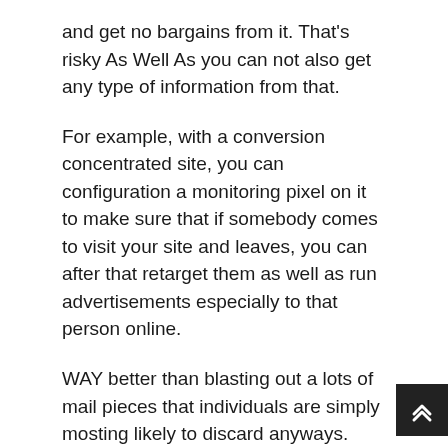and get no bargains from it. That's risky As Well As you can not also get any type of information from that.
For example, with a conversion concentrated site, you can configuration a monitoring pixel on it to make sure that if somebody comes to visit your site and leaves, you can after that retarget them as well as run advertisements especially to that person online.
WAY better than blasting out a lots of mail pieces that individuals are simply mosting likely to discard anyways. Likewise, you can gather they really valuable information because think of it.
Individuals having a look at your internet site are obviously people curious about using your service so why not target just those people !? It's just the